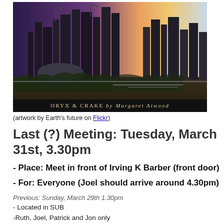[Figure (illustration): Digital artwork of a futuristic city skyline at dusk with the text 'ORYX & CRAKE by Margaret Atwood' at the bottom]
(artwork by Earth's future on Flickr)
Last (?) Meeting: Tuesday, March 31st, 3.30pm
- Place: Meet in front of Irving K Barber (front door)
- For: Everyone (Joel should arrive around 4.30pm)
Previous: Sunday, March 29th 1.30pm
- Located in SUB
-Ruth, Joel, Patrick and Jon only